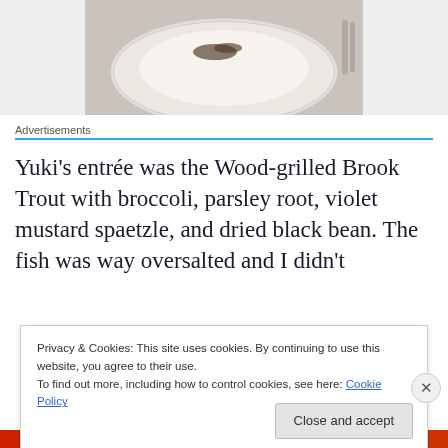[Figure (photo): A white bowl or plate with a creamy soup or dish, garnished with dark specks/crumbles on top, photographed from above on a white surface.]
Advertisements
Yuki's entrée was the Wood-grilled Brook Trout with broccoli, parsley root, violet mustard spaetzle, and dried black bean. The fish was way oversalted and I didn't
Privacy & Cookies: This site uses cookies. By continuing to use this website, you agree to their use.
To find out more, including how to control cookies, see here: Cookie Policy
Close and accept